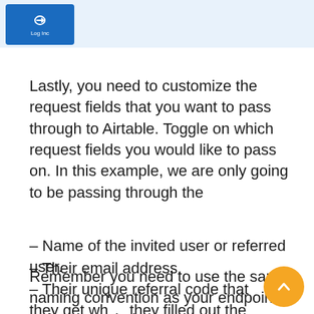[Figure (logo): Blue rectangle logo with a link/chain icon and 'Log Inc' text in white]
Lastly, you need to customize the request fields that you want to pass through to Airtable. Toggle on which request fields you would like to pass on. In this example, we are only going to be passing through the
– Name of the invited user or referred user.
– Their email address.
– Their unique referral code that they get when they filled out the form in Step 3.
– The name of the person who referred them.
Remember you need to use the same naming convention as your endpoint in order to catch the